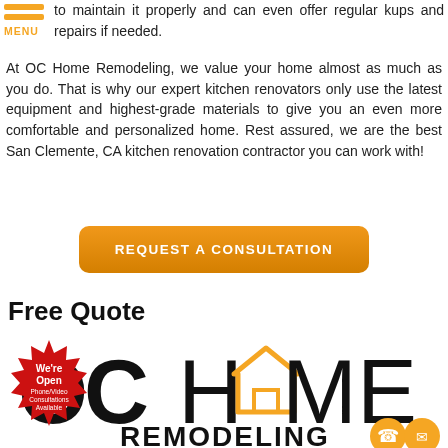MENU
to maintain it properly and can even offer regular kups and repairs if needed.
At OC Home Remodeling, we value your home almost as much as you do. That is why our expert kitchen renovators only use the latest equipment and highest-grade materials to give you an even more comfortable and personalized home. Rest assured, we are the best San Clemente, CA kitchen renovation contractor you can work with!
[Figure (other): Orange rounded rectangle button with white bold text reading REQUEST A CONSULTATION]
Free Quote
[Figure (logo): OC Home Remodeling logo with large OC letters, house icon replacing the O in HOME, REMODELING text below, phone and email icons. A red starburst badge overlapping reading We're Open Phone/Video Consultations Available.]